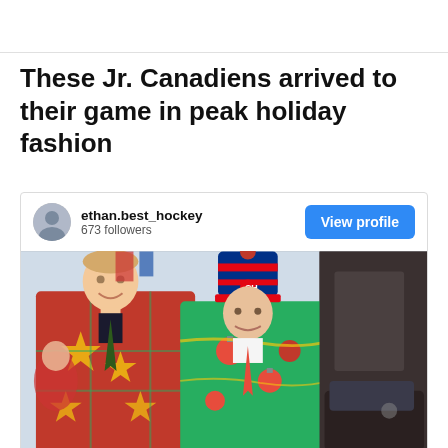These Jr. Canadiens arrived to their game in peak holiday fashion
ethan.best_hockey
673 followers
[Figure (photo): Two young men wearing festive Christmas-themed blazers standing side by side outdoors near a hockey arena. The left person wears a red blazer with gold stars and Christmas decorations, and the right person wears a green blazer with ornaments and decorations, along with a Montreal Canadiens winter pom-pom hat.]